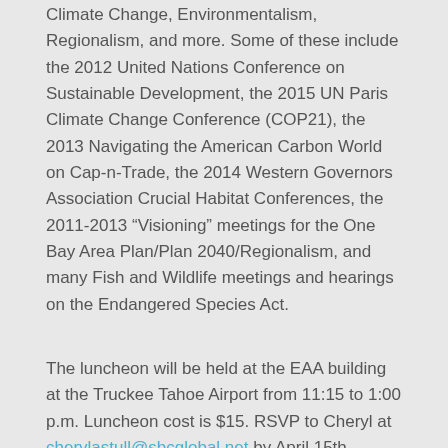She attends to various meetings and conferences related to Climate Change, Environmentalism, Regionalism, and more. Some of these include the 2012 United Nations Conference on Sustainable Development, the 2015 UN Paris Climate Change Conference (COP21), the 2013 Navigating the American Carbon World on Cap-n-Trade, the 2014 Western Governors Association Crucial Habitat Conferences, the 2011-2013 “Visioning” meetings for the One Bay Area Plan/Plan 2040/Regionalism, and many Fish and Wildlife meetings and hearings on the Endangered Species Act.
The luncheon will be held at the EAA building at the Truckee Tahoe Airport from 11:15 to 1:00 p.m. Luncheon cost is $15. RSVP to Cheryl at cherylastull@sbcglobal.net by April 15th.
[Figure (other): Twitter Tweet button]
2 Comments
THE SACRED FIRE